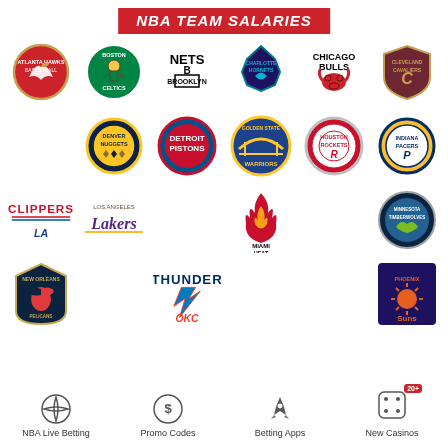NBA TEAM SALARIES
[Figure (infographic): Grid of NBA team logos including Atlanta Hawks, Boston Celtics, Brooklyn Nets, Charlotte Hornets, Chicago Bulls, Cleveland Cavaliers, Denver Nuggets, Detroit Pistons, Golden State Warriors, Houston Rockets, Indiana Pacers, LA Clippers, Los Angeles Lakers, Miami Heat, Minnesota Timberwolves, New Orleans Pelicans, Oklahoma City Thunder, Phoenix Suns]
[Figure (infographic): Footer navigation icons: NBA Live Betting (basketball icon), Promo Codes (dollar circle icon), Betting Apps (rocket icon), New Casinos (dice icon with 20+ badge)]
NBA Live Betting
Promo Codes
Betting Apps
New Casinos